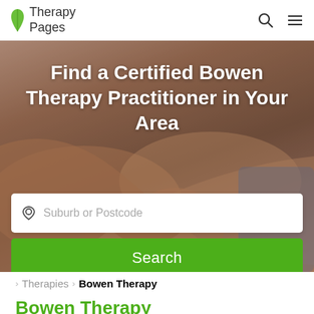Therapy Pages
[Figure (photo): Background photo of hands performing Bowen therapy massage on a person's arm, with a semi-transparent dark overlay. Text overlay reads: Find a Certified Bowen Therapy Practitioner in Your Area. Below is a white search input box with placeholder 'Suburb or Postcode' and a green Search button.]
Find a Certified Bowen Therapy Practitioner in Your Area
Suburb or Postcode
Search
> Therapies > Bowen Therapy
Bowen Therapy